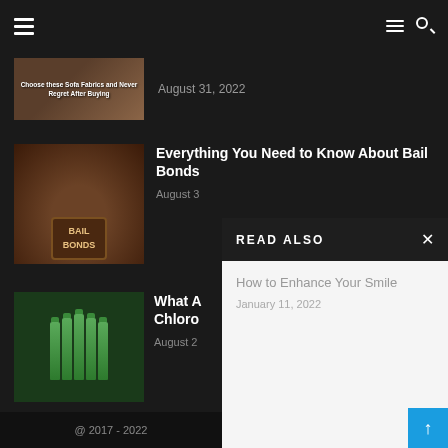Navigation header with hamburger menu and search icon
[Figure (screenshot): Thumbnail image of sofa fabrics article - brown fabric texture with text overlay]
August 31, 2022
[Figure (photo): Bail Bonds gavel and wooden block with BAIL BONDS text]
Everything You Need to Know About Bail Bonds
August 3
[Figure (photo): Green chlorophyll spray bottles]
What A Chloro
August 2
READ ALSO
How to Enhance Your Smile
January 11, 2022
@ 2017 - 2022